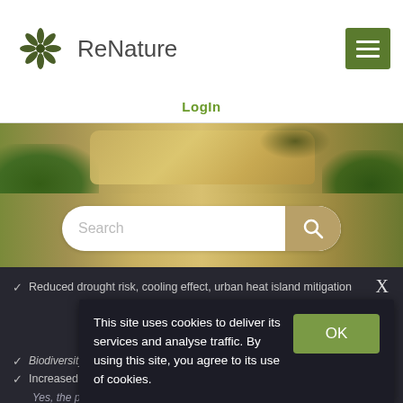[Figure (logo): ReNature logo with snowflake/star symbol in dark olive green and company name]
[Figure (screenshot): Green hamburger menu button in top right corner]
LogIn
[Figure (photo): Hero banner image showing rocky terrain with green vegetation]
[Figure (screenshot): Search bar with tan/gold search button and magnifying glass icon]
X
Reduced drought risk, cooling effect, urban heat island mitigation
This site uses cookies to deliver its services and analyse traffic. By using this site, you agree to its use of cookies.
[Figure (screenshot): OK button in green]
Biodiversity conservation or increased biodiversity
Increased quality and quantity of green and blue infrastructures
Yes, the project aimed to increase ...